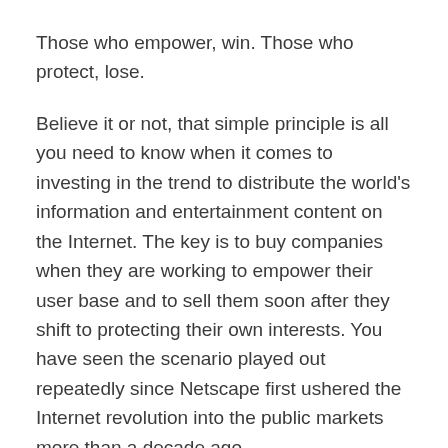Those who empower, win. Those who protect, lose.
Believe it or not, that simple principle is all you need to know when it comes to investing in the trend to distribute the world's information and entertainment content on the Internet. The key is to buy companies when they are working to empower their user base and to sell them soon after they shift to protecting their own interests. You have seen the scenario played out repeatedly since Netscape first ushered the Internet revolution into the public markets more than a decade ago.
The endgame of the Internet is the total empowerment of the end user.Because the Internet has been built on open standards and the free flow of information, the 1.5bn people on this planet who have access to the web will continuously move to the places on the net that empower